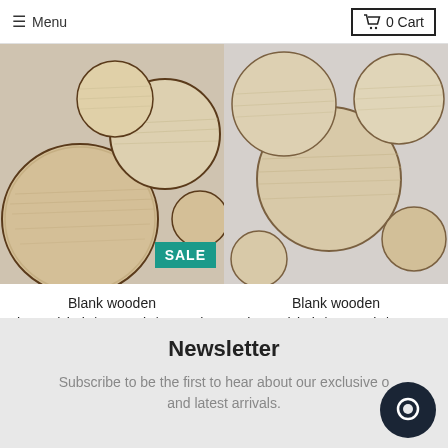≡ Menu | 🛒 0 Cart
[Figure (photo): Blank wooden circle shapes made of Albasia plywood scattered on a surface, with a teal SALE badge]
Blank wooden shapes(circle/rectangle/square) - Albasia plywood
From $0.38 $43.75
[Figure (photo): Blank wooden circle shapes made of Eucalyptus plywood arranged on a light grey surface]
Blank wooden shapes(circle/rectangle/square) - Eucalyptus plywood
From $0.38
Newsletter
Subscribe to be the first to hear about our exclusive offers and latest arrivals.